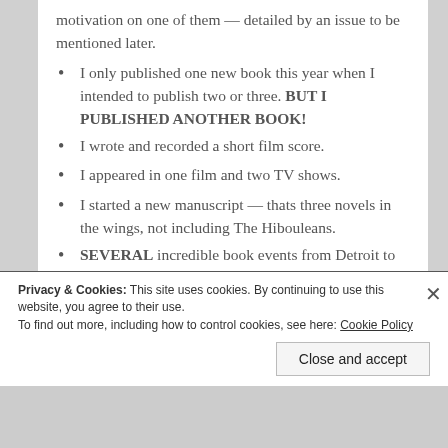motivation on one of them — detailed by an issue to be mentioned later.
I only published one new book this year when I intended to publish two or three. BUT I PUBLISHED ANOTHER BOOK!
I wrote and recorded a short film score.
I appeared in one film and two TV shows.
I started a new manuscript — thats three novels in the wings, not including The Hibouleans.
SEVERAL incredible book events from Detroit to Aurora and I was so honored to share a panel at Wakandacon with groundbreaking black SFF novelists.
Privacy & Cookies: This site uses cookies. By continuing to use this website, you agree to their use. To find out more, including how to control cookies, see here: Cookie Policy